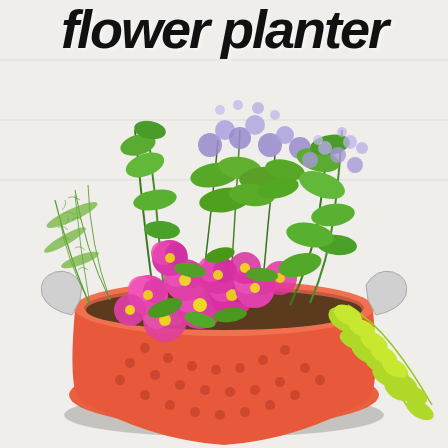flower planter
[Figure (photo): An orange colander/strainer used as a flower planter, filled with vibrant pink calibrachoa flowers, purple ageratum, green asparagus fern, and trailing yellow-green creeping Jenny, photographed against a white wooden background.]